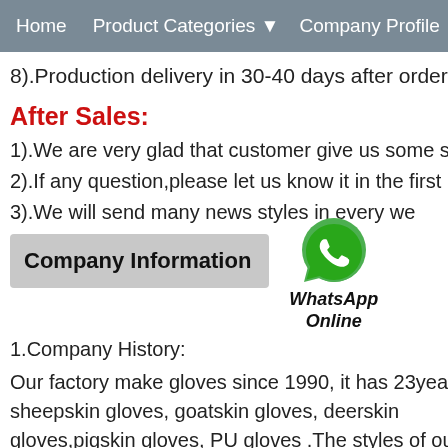Home   Product Categories ▾   Company Profile
8).Production delivery in 30-40 days after order confi…
After Sales:
1).We are very glad that customer give us some suggestion…
2).If any question,please let us know it in the first by E-mail…
3).We will send many news styles in every we… our old…
Company Information
[Figure (logo): WhatsApp green phone bubble icon with WhatsApp Online text]
1.Company History:
Our factory make gloves since 1990, it has 23years experi… sheepskin gloves, goatskin gloves, deerskin gloves,pigskin gloves, PU gloves .The styles of our gloves… for women and men.